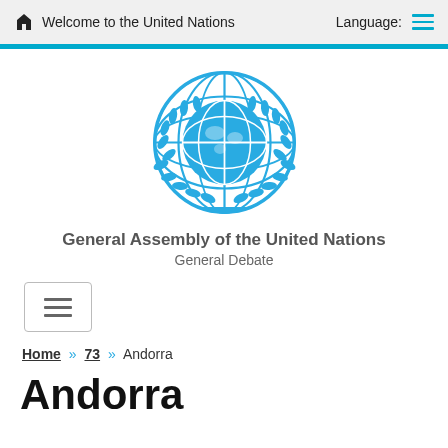Welcome to the United Nations  Language:
[Figure (logo): United Nations emblem - blue globe with olive branches, circular design]
General Assembly of the United Nations
General Debate
[Figure (other): Hamburger menu toggle button with three horizontal lines inside a bordered box]
Home » 73 » Andorra
Andorra